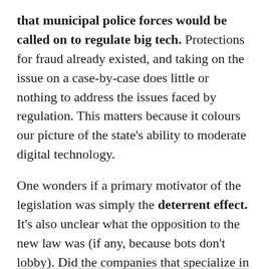that municipal police forces would be called on to regulate big tech. Protections for fraud already existed, and taking on the issue on a case-by-case does little or nothing to address the issues faced by regulation. This matters because it colours our picture of the state's ability to moderate digital technology.
One wonders if a primary motivator of the legislation was simply the deterrent effect. It's also unclear what the opposition to the new law was (if any, because bots don't lobby). Did the companies that specialize in resale defend it, or claim that they are merely platforms? Unsurprisingly, bot bans were supported by Ticketmaster and Vivid Seats.